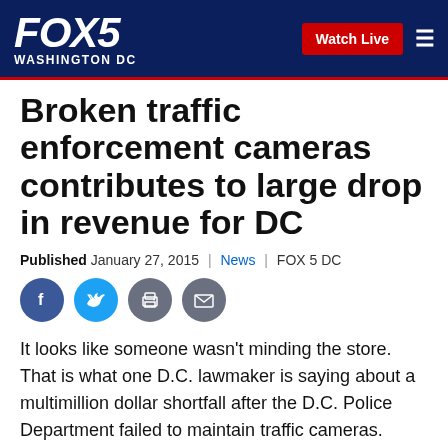FOX 5 WASHINGTON DC | Watch Live
Broken traffic enforcement cameras contributes to large drop in revenue for DC
Published January 27, 2015 | News | FOX 5 DC
[Figure (other): Social sharing icons: Facebook, Twitter, Print, Email]
It looks like someone wasn't minding the store. That is what one D.C. lawmaker is saying about a multimillion dollar shortfall after the D.C. Police Department failed to maintain traffic cameras.
The department is blaming the weather, but some are